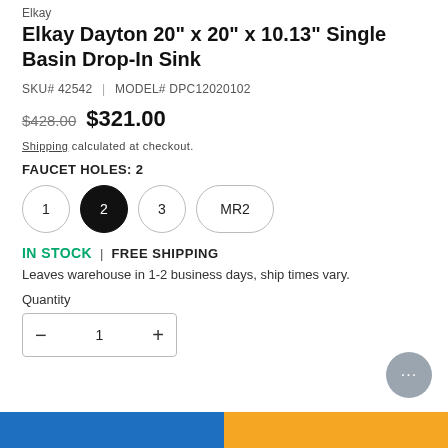Elkay
Elkay Dayton 20" x 20" x 10.13" Single Basin Drop-In Sink
SKU# 42542 | MODEL# DPC12020102
$428.00  $321.00
Shipping calculated at checkout.
FAUCET HOLES: 2
Options: 1, 2 (selected), 3, MR2
IN STOCK | FREE SHIPPING
Leaves warehouse in 1-2 business days, ship times vary.
Quantity
1